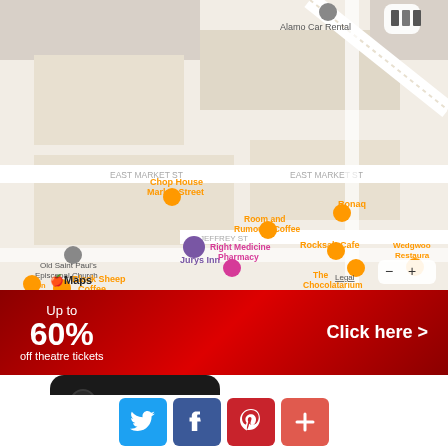[Figure (map): Apple Maps screenshot showing area around East Market St and Jeffrey St in Edinburgh with POIs including Chop House Market Street, Ronaq, Room and Rumours Coffee, Jurys Inn, Right Medicine Pharmacy, Rocksalt Cafe, Wedgwood Restaurant, The Chocolatarium, Old Saint Paul's Episcopal Church, Black Sheep Coffee, Byron, and Alamo Car Rental]
[Figure (infographic): Red theatre curtain advertisement banner reading 'Up to 60% off theatre tickets' with 'Click here >' on the right]
[Figure (photo): iPhone in dark case on left side with bold text 'DOES' on the right]
[Figure (infographic): Social sharing buttons: Twitter (blue bird), Facebook (blue f), Pinterest (red P), and a red plus button]